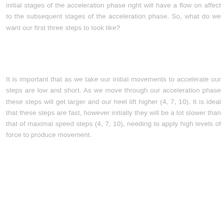initial stages of the acceleration phase right will have a flow on affect to the subsequent stages of the acceleration phase. So, what do we want our first three steps to look like?
It is important that as we take our initial movements to accelerate our steps are low and short. As we move through our acceleration phase these steps will get larger and our heel lift higher (4, 7, 10). It is ideal that these steps are fast, however initially they will be a lot slower than that of maximal speed steps (4, 7, 10), needing to apply high levels of force to produce movement.